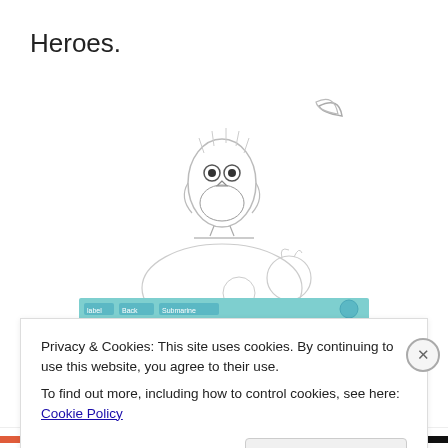Heroes.
[Figure (illustration): Pencil sketch of a fluffy owl-like creature perched, with a crescent moon in the upper right. Below the creature is a larger sketch of what appears to be a reclining animal with handwritten notes nearby.]
[Figure (illustration): Child's crayon/marker drawing in teal/blue colors, showing a landscape or scene with wavy lines and small shapes.]
Privacy & Cookies: This site uses cookies. By continuing to use this website, you agree to their use.
To find out more, including how to control cookies, see here: Cookie Policy
Close and accept